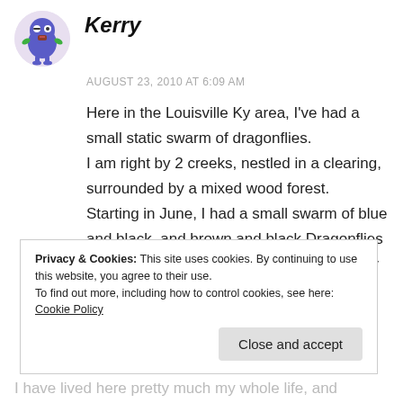[Figure (illustration): Avatar icon: a round cartoon blue monster character with green arms, on a light purple circular background]
Kerry
AUGUST 23, 2010 AT 6:09 AM
Here in the Louisville Ky area, I've had a small static swarm of dragonflies.
I am right by 2 creeks, nestled in a clearing, surrounded by a mixed wood forest.
Starting in June, I had a small swarm of blue and black, and brown and black Dragonflies that have hung around the front yard, in my gardens.
The weather this summer has been very hot, and
Privacy & Cookies: This site uses cookies. By continuing to use this website, you agree to their use.
To find out more, including how to control cookies, see here: Cookie Policy
Close and accept
I have lived here pretty much my whole life, and